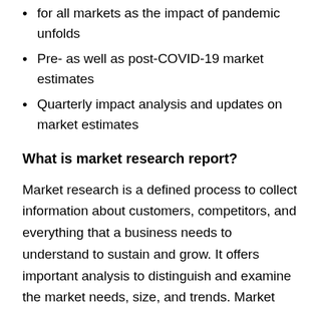for all markets as the impact of pandemic unfolds
Pre- as well as post-COVID-19 market estimates
Quarterly impact analysis and updates on market estimates
What is market research report?
Market research is a defined process to collect information about customers, competitors, and everything that a business needs to understand to sustain and grow. It offers important analysis to distinguish and examine the market needs, size, and trends. Market research is generally divided into, primary research and/or secondary research.